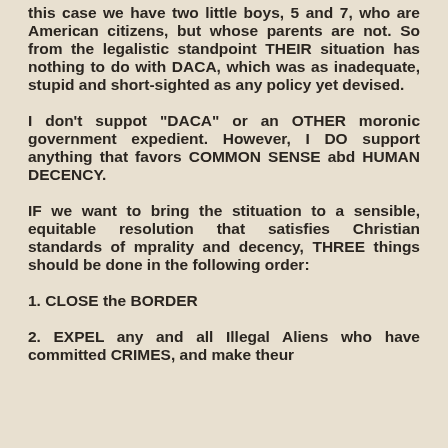this case we have two little boys, 5 and 7, who are American citizens, but whose parents are not. So from the legalistic standpoint THEIR situation has nothing to do with DACA, which was as inadequate, stupid and short-sighted as any policy yet devised.
I don't suppot "DACA" or an OTHER moronic government expedient. However, I DO support anything that favors COMMON SENSE abd HUMAN DECENCY.
IF we want to bring the stituation to a sensible, equitable resolution that satisfies Christian standards of mprality and decency, THREE things should be done in the following order:
1. CLOSE the BORDER
2. EXPEL any and all Illegal Aliens who have committed CRIMES, and make theur